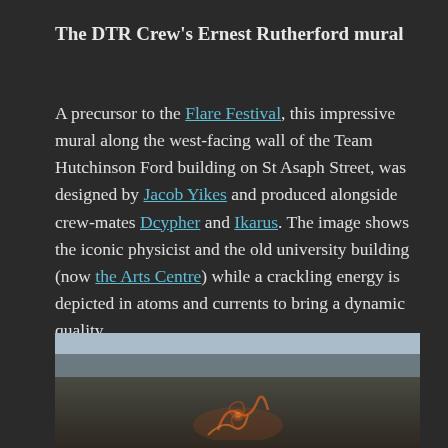The DTR Crew's Ernest Rutherford mural
A precursor to the Flare Festival, this impressive mural along the west-facing wall of the Team Hutchinson Ford building on St Asaph Street, was designed by Jacob Yikes and produced alongside crew-mates Dcypher and Ikarus. The image shows the iconic physicist and the old university building (now the Arts Centre) while a crackling energy is depicted in atoms and currents to bring a dynamic quality.
[Figure (photo): Photograph of the DTR Crew's Ernest Rutherford mural on a building wall, showing a partial view of the mural with glowing orange atom/energy designs against a dark wall background with a sky visible at the top.]